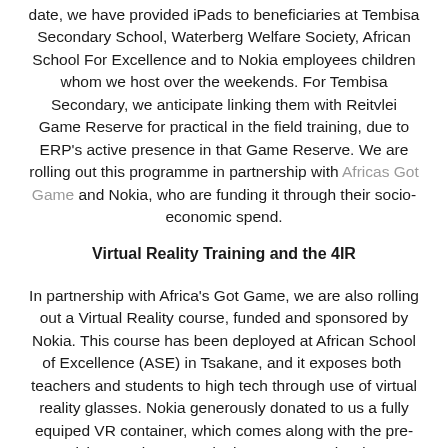date, we have provided iPads to beneficiaries at Tembisa Secondary School, Waterberg Welfare Society, African School For Excellence and to Nokia employees children whom we host over the weekends. For Tembisa Secondary, we anticipate linking them with Reitvlei Game Reserve for practical in the field training, due to ERP's active presence in that Game Reserve. We are rolling out this programme in partnership with Africas Got Game and Nokia, who are funding it through their socio-economic spend.
Virtual Reality Training and the 4IR
In partnership with Africa's Got Game, we are also rolling out a Virtual Reality course, funded and sponsored by Nokia. This course has been deployed at African School of Excellence (ASE) in Tsakane, and it exposes both teachers and students to high tech through use of virtual reality glasses. Nokia generously donated to us a fully equiped VR container, which comes along with the pre-requisite VR glasses and other necessary hardware, providing on students with a